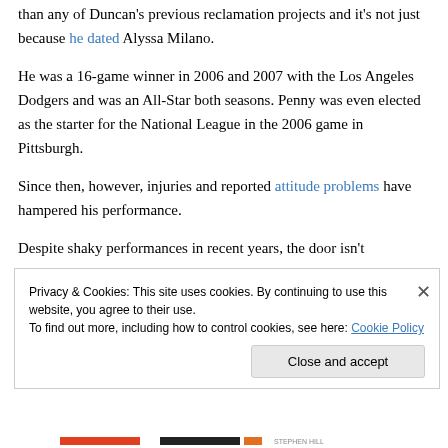than any of Duncan's previous reclamation projects and it's not just because he dated Alyssa Milano.
He was a 16-game winner in 2006 and 2007 with the Los Angeles Dodgers and was an All-Star both seasons. Penny was even elected as the starter for the National League in the 2006 game in Pittsburgh.
Since then, however, injuries and reported attitude problems have hampered his performance.
Despite shaky performances in recent years, the door isn't
Privacy & Cookies: This site uses cookies. By continuing to use this website, you agree to their use. To find out more, including how to control cookies, see here: Cookie Policy
Close and accept